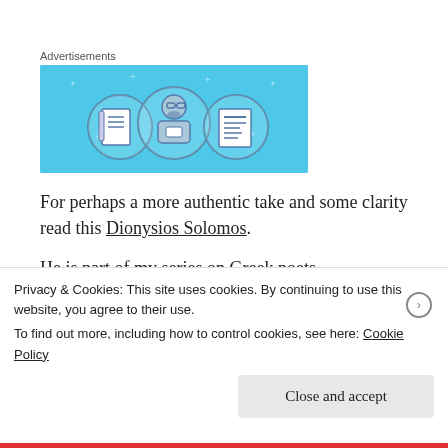Advertisements
[Figure (illustration): Advertisement banner with light blue background showing three circular icons: a notebook, a person with glasses, and a document/list, in a flat illustration style.]
For perhaps a more authentic take and some clarity read this Dionysios Solomos.
He is part of my series on Greek poets.
Privacy & Cookies: This site uses cookies. By continuing to use this website, you agree to their use.
To find out more, including how to control cookies, see here: Cookie Policy
Close and accept